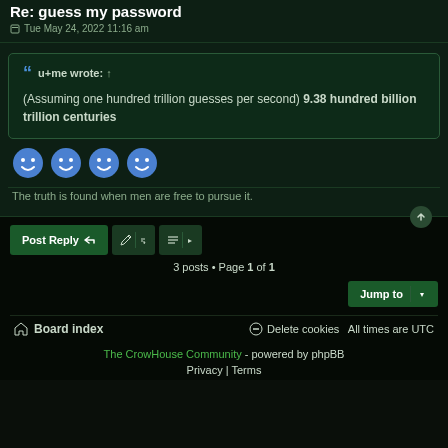Re: guess my password
Tue May 24, 2022 11:16 am
u+me wrote: ↑
(Assuming one hundred trillion guesses per second) 9.38 hundred billion trillion centuries
[Figure (illustration): Four blue smiley face emoji icons in a row]
The truth is found when men are free to pursue it.
Post Reply | tool buttons | 3 posts • Page 1 of 1 | Jump to
Board index | Delete cookies | All times are UTC
The CrowHouse Community - powered by phpBB
Privacy | Terms